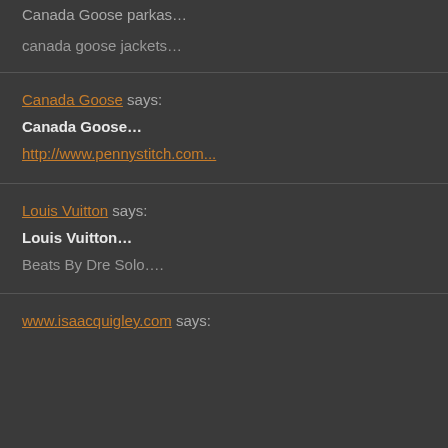Canada Goose parkas...
canada goose jackets…
Canada Goose says:
Canada Goose…
http://www.pennystitch.com...
Louis Vuitton says:
Louis Vuitton…
Beats By Dre Solo….
www.isaacquigley.com says: